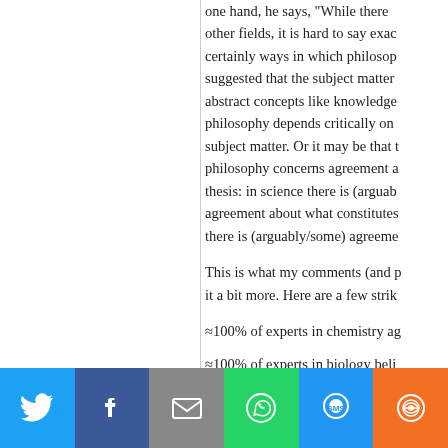one hand, he says, "While there are certainly ways in which philosophy depends critically on other fields, it is hard to say exactly what distinguishes philosophy. There are certainly ways in which philosophy depends critically on abstract concepts like knowledge, but it is also suggested that the subject matter of philosophy depends critically on abstract concepts like knowledge, belief, and other abstract concepts. Or it may be that the lack of consensus in philosophy concerns agreement about thesis: in science there is (arguably) broad agreement about what constitutes evidence... there is (arguably/some) agreement...
This is what my comments (and p... it a bit more. Here are a few strik...
≈100% of experts in chemistry ag...
≈100% of experts in biology beli...
≈100% of experts in particle phys... of fundamental particle interactio...
>99% of experts in physical cosm... theory of gravitation (there are a... Newtonian Dynamics, but each k... relativity does not).
[Figure (infographic): Social media share bar with buttons for Twitter (blue), Facebook (dark blue), Email (grey), WhatsApp (green), SMS (blue), and More (orange)]